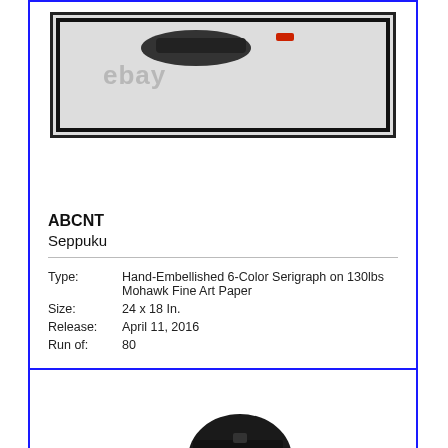[Figure (illustration): Top portion of framed artwork showing a dark object on a light background, partially cropped]
ABCNT
Seppuku
| Type: | Hand-Embellished 6-Color Serigraph on 130lbs Mohawk Fine Art Paper |
| Size: | 24 x 18 In. |
| Release: | April 11, 2016 |
| Run of: | 80 |
[Figure (illustration): A police officer in full riot gear including helmet with face shield, body armor labeled POLICE, backpack, and holding a katana sword. eBay watermark visible.]